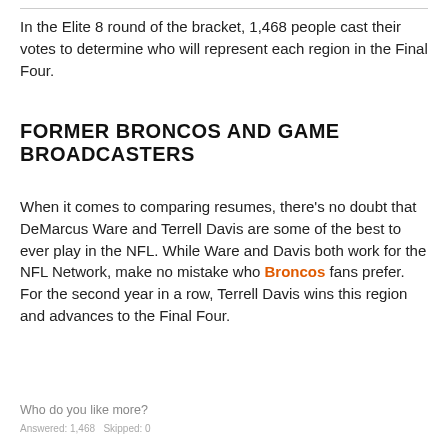In the Elite 8 round of the bracket, 1,468 people cast their votes to determine who will represent each region in the Final Four.
FORMER BRONCOS AND GAME BROADCASTERS
When it comes to comparing resumes, there’s no doubt that DeMarcus Ware and Terrell Davis are some of the best to ever play in the NFL. While Ware and Davis both work for the NFL Network, make no mistake who Broncos fans prefer. For the second year in a row, Terrell Davis wins this region and advances to the Final Four.
Who do you like more?
Answered: 1,468   Skipped: 0